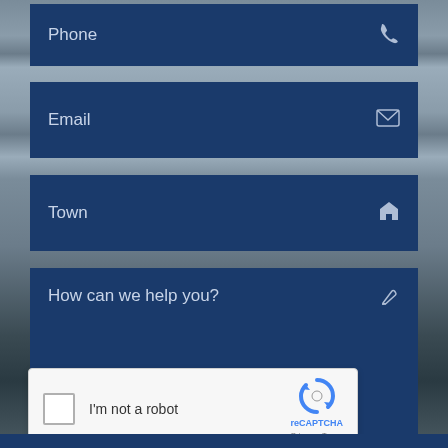Phone
Email
Town
How can we help you?
[Figure (screenshot): reCAPTCHA widget with checkbox labeled 'I'm not a robot' and reCAPTCHA logo with Privacy and Terms links]